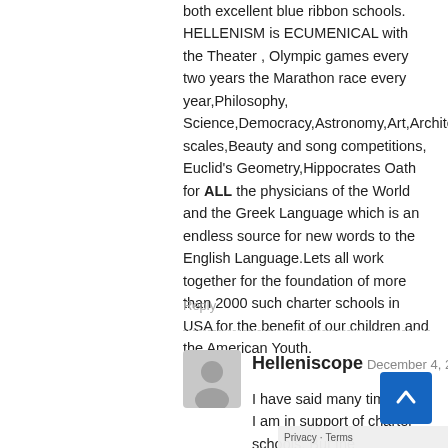both excellent blue ribbon schools. HELLENISM is ECUMENICAL with the Theater , Olympic games every two years the Marathon race every year,Philosophy, Science,Democracy,Astronomy,Art,Architecture,Music scales,Beauty and song competitions, Euclid's Geometry,Hippocrates Oath for ALL the physicians of the World and the Greek Language which is an endless source for new words to the English Language.Lets all work together for the foundation of more than 2000 such charter schools in USA for the benefit of our children and the American Youth.
Reply
Helleniscope December 4, 2020 at 6:35 pm
I have said many times that I am in support of charter schools. But the St.Demetrios School is a different situation as it can play a role community that no other school can. Be of its location at the center of the bigge Greek-American community in this country and